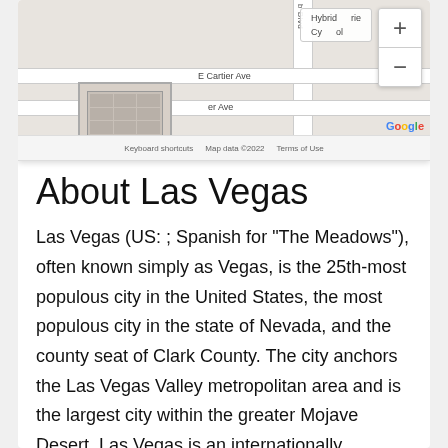[Figure (map): Google Maps screenshot showing a street map with E Cartier Ave, another avenue, and a vertical boulevard. Includes zoom controls (+/-), Hybrid and Cycle map type buttons, Google branding, and map footer with Keyboard shortcuts, Map data ©2022, Terms of Use.]
About Las Vegas
Las Vegas (US: ; Spanish for "The Meadows"), often known simply as Vegas, is the 25th-most populous city in the United States, the most populous city in the state of Nevada, and the county seat of Clark County. The city anchors the Las Vegas Valley metropolitan area and is the largest city within the greater Mojave Desert. Las Vegas is an internationally renowned major resort city, known primarily